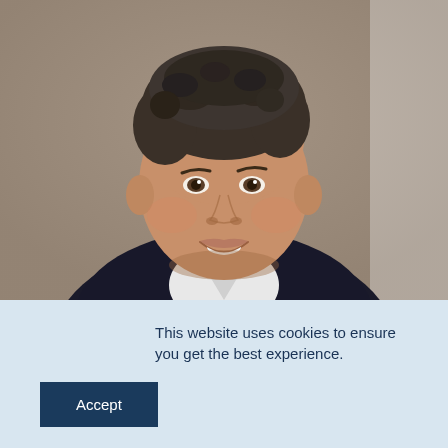[Figure (photo): Professional headshot of a middle-aged man with curly dark gray hair, wearing a dark suit and white shirt, smiling, against a neutral warm beige/gray background.]
This website uses cookies to ensure you get the best experience.
Accept